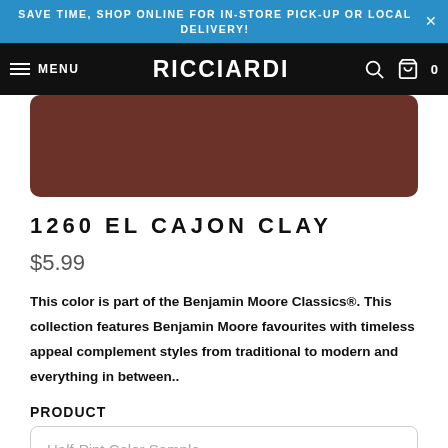SAVE TIME, SHOP ONLINE FOR IN-STORE PICK-UP OR LOCAL DELIVERY!
[Figure (screenshot): Ricciardi store navigation bar with hamburger menu, RICCIARDI brand logo, search icon, and cart icon on black background]
[Figure (other): Color swatch rectangle in dark brownish-red (El Cajon Clay color #1260)]
1260 EL CAJON CLAY
$5.99
This color is part of the Benjamin Moore Classics®. This collection features Benjamin Moore favourites with timeless appeal complement styles from traditional to modern and everything in between..
PRODUCT
Half-Pint Color Sample